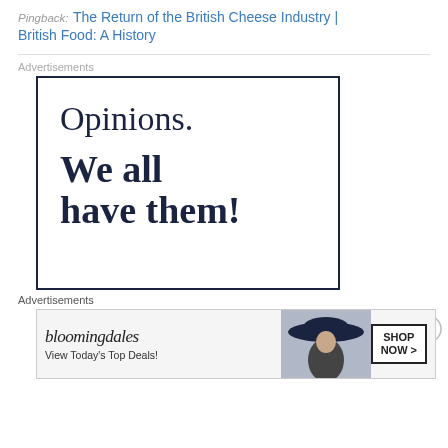Pingback: The Return of the British Cheese Industry | British Food: A History
Advertisements
[Figure (illustration): Advertisement box with dark navy border containing text 'Opinions.' in serif font and 'We all have them!' in bold serif font below]
Advertisements
[Figure (illustration): Bloomingdale's advertisement banner: bloomingdales logo, 'View Today's Top Deals!' text, woman with hat image, and 'SHOP NOW >' button]